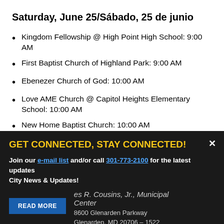Saturday, June 25/Sábado, 25 de junio
Kingdom Fellowship @ High Point High School: 9:00 AM
First Baptist Church of Highland Park: 9:00 AM
Ebenezer Church of God: 10:00 AM
Love AME Church @ Capitol Heights Elementary School: 10:00 AM
New Home Baptist Church: 10:00 AM
GET CONNECTED, STAY CONNECTED!
Join our e-mail list and/or call 301-773-2100 for the latest updates City News & Updates!
es R. Cousins, Jr., Municipal Center
8600 Glenarden Parkway Glenarden, MD 20706 – 1522